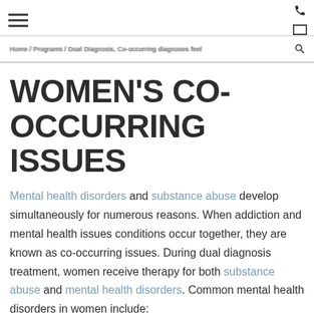≡  [hamburger menu] | phone icon | mail icon | search icon
Home / Programs / Dual Diagnosis, Co-occurring diagnoses feel
WOMEN'S CO-OCCURRING ISSUES
Mental health disorders and substance abuse develop simultaneously for numerous reasons. When addiction and mental health issues conditions occur together, they are known as co-occurring issues. During dual diagnosis treatment, women receive therapy for both substance abuse and mental health disorders. Common mental health disorders in women include: